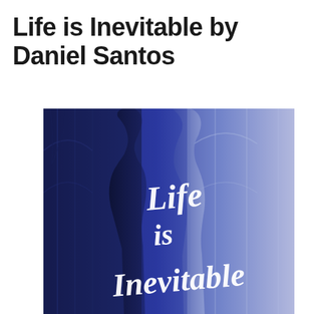Life is Inevitable by Daniel Santos
[Figure (illustration): Book cover for 'Life is Inevitable' by Daniel Santos. Shows two silhouettes of people facing each other against a blue and lavender background with an architectural interior scene. White script text reads 'Life is Inevitable' overlaid on the silhouettes.]